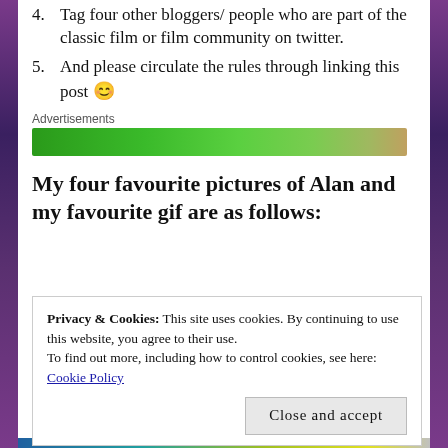4. Tag four other bloggers/ people who are part of the classic film or film community on twitter.
5. And please circulate the rules through linking this post 😊
Advertisements
[Figure (other): Green advertisement banner bar]
My four favourite pictures of Alan and my favourite gif are as follows:
Privacy & Cookies: This site uses cookies. By continuing to use this website, you agree to their use.
To find out more, including how to control cookies, see here: Cookie Policy

Close and accept